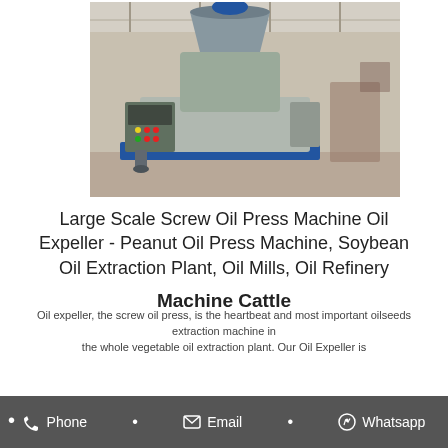[Figure (photo): Large industrial screw oil press machine in a factory setting, shown on a blue base with electrical control panel on the left side. An 'Online support' chat badge overlaps the top-right of the image.]
Large Scale Screw Oil Press Machine Oil Expeller - Peanut Oil Press Machine, Soybean Oil Extraction Plant, Oil Mills, Oil Refinery Machine Cattle
Oil expeller, the screw oil press, is the heartbeat and most important oilseeds extraction machine in the whole vegetable oil extraction plant. Our Oil Expeller is
Phone   Email   Whatsapp